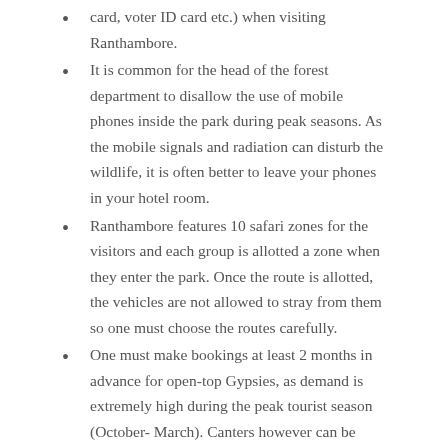card, voter ID card etc.) when visiting Ranthambore.
It is common for the head of the forest department to disallow the use of mobile phones inside the park during peak seasons. As the mobile signals and radiation can disturb the wildlife, it is often better to leave your phones in your hotel room.
Ranthambore features 10 safari zones for the visitors and each group is allotted a zone when they enter the park. Once the route is allotted, the vehicles are not allowed to stray from them so one must choose the routes carefully.
One must make bookings at least 2 months in advance for open-top Gypsies, as demand is extremely high during the peak tourist season (October- March). Canters however can be booked just a few hours prior to your visit and can also be booked through travel agents.
Once the safaris are booked, the visitors get a written confirmation and the amount is non-refundable in case of any